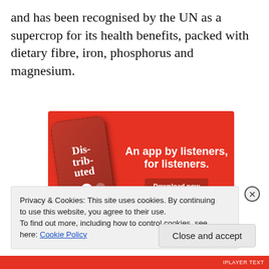and has been recognised by the UN as a supercrop for its health benefits, packed with dietary fibre, iron, phosphorus and magnesium.
[Figure (screenshot): Advertisement for a podcast app showing a smartphone with 'Dis-trib-uted' podcast displayed on screen, red background, text: 'An app by listeners, for listeners.' with 'Download now' button]
Privacy & Cookies: This site uses cookies. By continuing to use this website, you agree to their use.
To find out more, including how to control cookies, see here: Cookie Policy
Close and accept